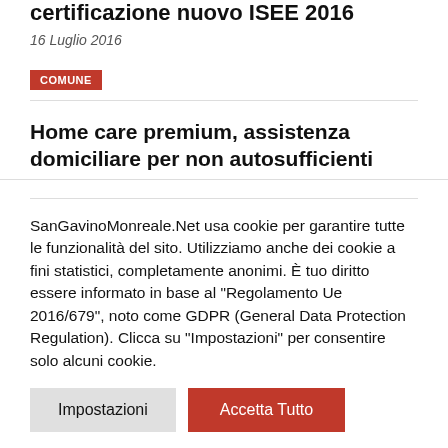certificazione nuovo ISEE 2016
16 Luglio 2016
COMUNE
Home care premium, assistenza domiciliare per non autosufficienti
18 Febbraio 2015
SanGavinoMonreale.Net usa cookie per garantire tutte le funzionalità del sito. Utilizziamo anche dei cookie a fini statistici, completamente anonimi. È tuo diritto essere informato in base al "Regolamento Ue 2016/679", noto come GDPR (General Data Protection Regulation). Clicca su "Impostazioni" per consentire solo alcuni cookie.
Impostazioni
Accetta Tutto